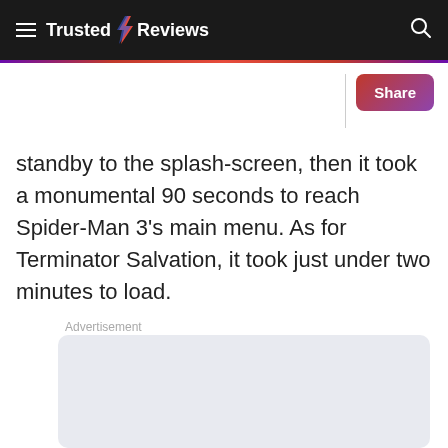Trusted Reviews
standby to the splash-screen, then it took a monumental 90 seconds to reach Spider-Man 3's main menu. As for Terminator Salvation, it took just under two minutes to load.
Advertisement
[Figure (other): Advertisement placeholder box with light gray/blue background]